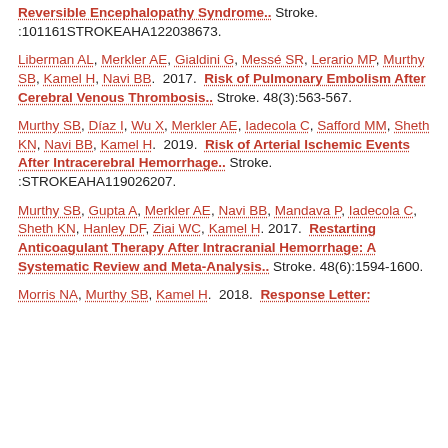Reversible Encephalopathy Syndrome.. Stroke. :101161STROKEAHA122038673.
Liberman AL, Merkler AE, Gialdini G, Messé SR, Lerario MP, Murthy SB, Kamel H, Navi BB. 2017. Risk of Pulmonary Embolism After Cerebral Venous Thrombosis.. Stroke. 48(3):563-567.
Murthy SB, Díaz I, Wu X, Merkler AE, Iadecola C, Safford MM, Sheth KN, Navi BB, Kamel H. 2019. Risk of Arterial Ischemic Events After Intracerebral Hemorrhage.. Stroke. :STROKEAHA119026207.
Murthy SB, Gupta A, Merkler AE, Navi BB, Mandava P, Iadecola C, Sheth KN, Hanley DF, Ziai WC, Kamel H. 2017. Restarting Anticoagulant Therapy After Intracranial Hemorrhage: A Systematic Review and Meta-Analysis.. Stroke. 48(6):1594-1600.
Morris NA, Murthy SB, Kamel H. 2018. Response Letter: